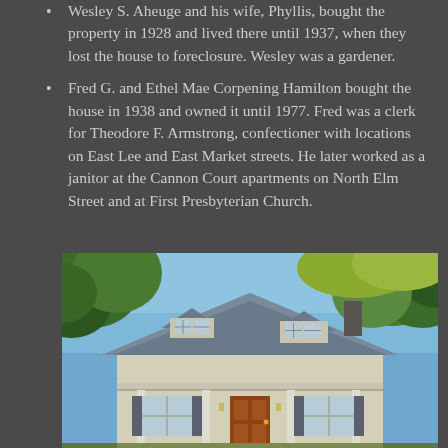Wesley S. Aheuge and his wife, Phyllis, bought the property in 1928 and lived there until 1937, when they lost the house to foreclosure. Wesley was a gardener.
Fred G. and Ethel Mae Corpening Hamilton bought the house in 1938 and owned it until 1977. Fred was a clerk for Theodore F. Armstrong, confectioner with locations on East Lee and East Market streets. He later worked as a janitor at the Cannon Court apartments on North Elm Street and at First Presbyterian Church.
[Figure (photo): Exterior photograph of a two-story craftsman-style house with a metal roof, dormer windows, front porch with columns, dark shutters, and a wood front door, surrounded by trees under a blue sky.]